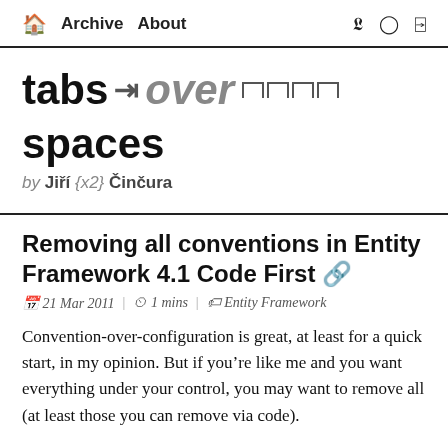🏠 Archive  About   (twitter) (github) (rss)
tabs ↵ over □□□□ spaces by Jiří {x2} Činčura
Removing all conventions in Entity Framework 4.1 Code First 🔗
21 Mar 2011 | 1 mins | Entity Framework
Convention-over-configuration is great, at least for a quick start, in my opinion. But if you're like me and you want everything under your control, you may want to remove all (at least those you can remove via code).